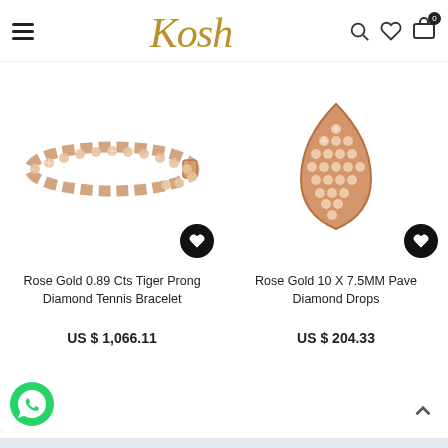[Figure (logo): Kosh jewelry store logo in gold cursive script]
[Figure (photo): Rose gold diamond tennis bracelet product photo]
[Figure (photo): Rose gold pave diamond drop pendant product photo]
Rose Gold 0.89 Cts Tiger Prong Diamond Tennis Bracelet
US $ 1,066.11
Rose Gold 10 X 7.5MM Pave Diamond Drops
US $ 204.33
[Figure (illustration): WhatsApp contact button (green circle with phone icon)]
[Figure (illustration): Scroll to top arrow button]